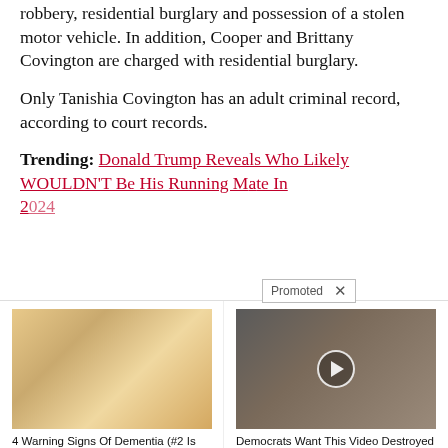robbery, residential burglary and possession of a stolen motor vehicle. In addition, Cooper and Brittany Covington are charged with residential burglary.
Only Tanishia Covington has an adult criminal record, according to court records.
Trending: Donald Trump Reveals Who Likely WOULDN'T Be His Running Mate In 2024
[Figure (photo): Advertisement image showing close-up of fingernails with yellow tint, representing a health article about dementia warning signs.]
4 Warning Signs Of Dementia (#2 Is Scary)
8,548
[Figure (photo): Advertisement image showing Melania Trump and Donald Trump with a video play button overlay.]
Democrats Want This Video Destroyed — Watch Now Before It's Banned
166,605